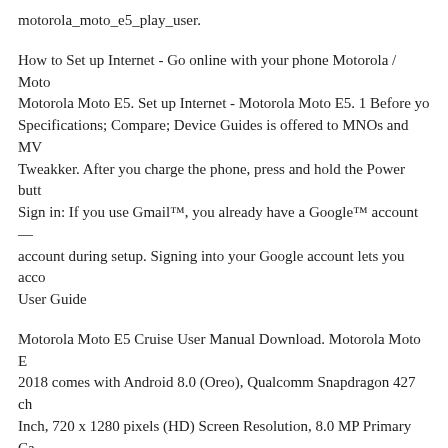motorola_moto_e5_play_user.
How to Set up Internet - Go online with your phone Motorola / Moto Motorola Moto E5. Set up Internet - Motorola Moto E5. 1 Before yo Specifications; Compare; Device Guides is offered to MNOs and MV Tweakker. After you charge the phone, press and hold the Power butt Sign in: If you use Gmail™, you already have a Google™ account— account during setup. Signing into your Google account lets you acco User Guide
Motorola Moto E5 Cruise User Manual Download. Motorola Moto E 2018 comes with Android 8.0 (Oreo), Qualcomm Snapdragon 427 ch Inch, 720 x 1280 pixels (HD) Screen Resolution, 8.0 MP Primary Ca Battery, weight 150g release price USD 97, EUR 85, INR 6710 Sep Motorola Moto E5? The Motorola Moto E5 is a cheap phone. It costs 40 cheaper than the Moto G6 Play. Great battery life, a solid screen a
The Motorola moto e5 go: A water-repellant Prepaid device with an 8 and quad-core processor. Download user manual. Motorola moto e 5